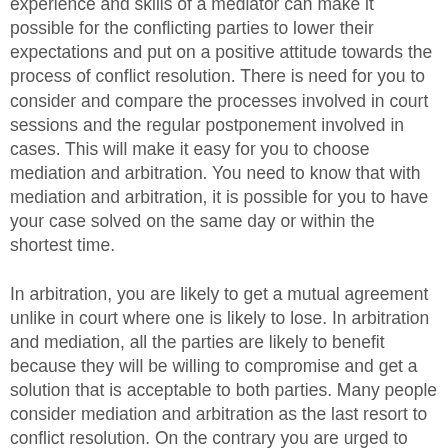experience and skills of a mediator can make it possible for the conflicting parties to lower their expectations and put on a positive attitude towards the process of conflict resolution. There is need for you to consider and compare the processes involved in court sessions and the regular postponement involved in cases. This will make it easy for you to choose mediation and arbitration. You need to know that with mediation and arbitration, it is possible for you to have your case solved on the same day or within the shortest time.
In arbitration, you are likely to get a mutual agreement unlike in court where one is likely to lose. In arbitration and mediation, all the parties are likely to benefit because they will be willing to compromise and get a solution that is acceptable to both parties. Many people consider mediation and arbitration as the last resort to conflict resolution. On the contrary you are urged to use it as a first step to avoid a lot of conflict that may lead to a lot of time loss and even turn out to be expensive. You need to look at your conflict and choose the right dispute resolution process that will serve your interests